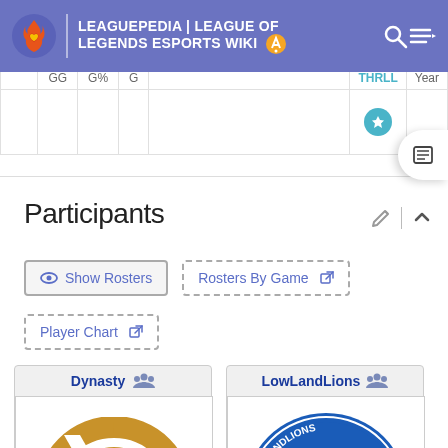LEAGUEPEDIA | LEAGUE OF LEGENDS ESPORTS WIKI
|  | GG | G% | G |  | THRLL | Year |
| --- | --- | --- | --- | --- | --- | --- |
|  |
Participants
Show Rosters
Rosters By Game
Player Chart
[Figure (logo): Dynasty team logo - gold circular design with N shape cutout]
[Figure (logo): LowLandLions team logo - blue circular badge with lion and KAA GENT text]